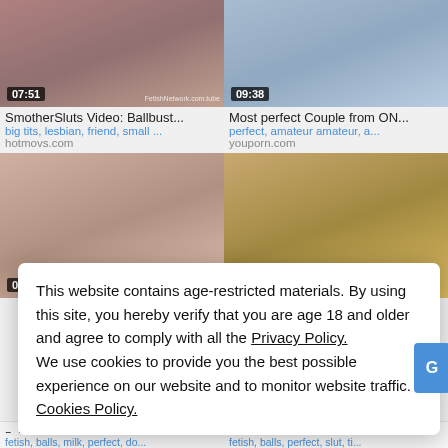[Figure (screenshot): Video thumbnail top-left with duration 07:51 and watermark FetishNetwork.com.tube]
[Figure (screenshot): Video thumbnail top-right with duration 09:38]
SmotherSluts Video: Ballbust...
big tits, lesbian, friend, small ...
hotmovs.com
Most perfect Couple from ON...
perfect, amateur amateur, a...
youporn.com
[Figure (screenshot): Video thumbnail bottom-left with duration 06:10]
[Figure (screenshot): Video thumbnail bottom-right with duration 07:15]
This website contains age-restricted materials. By using this site, you hereby verify that you are age 18 and older and agree to comply with all the Privacy Policy.
We use cookies to provide you the best possible experience on our website and to monitor website traffic. Cookies Policy.
Balls Plays Green Ballseashin... | onlyheeii...
fetish, balls, milk, perfect, do...
fetish, balls, perfect, slut, ti...